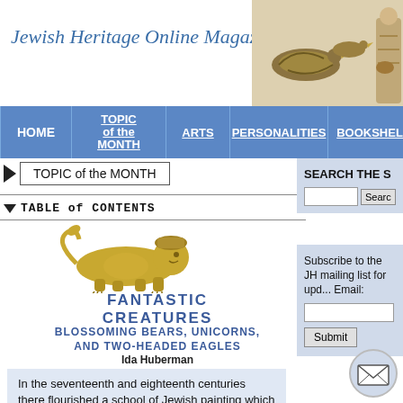Jewish Heritage Online Magazine
[Figure (illustration): Decorative illustrations of birds and a person in traditional dress in the top-right header area]
HOME | TOPIC of the MONTH | ARTS | PERSONALITIES | BOOKSHELF | CALE...
TOPIC of the MONTH
TABLE of CONTENTS
[Figure (illustration): Golden/sepia illustrated creature (lion or bear) in a decorative style]
FANTASTIC CREATURES
BLOSSOMING BEARS, UNICORNS, AND TWO-HEADED EAGLES
Ida Huberman
In the seventeenth and eighteenth centuries there flourished a school of Jewish painting which
SEARCH THE S
Subscribe to the JH mailing list for upd... Email:
[Figure (illustration): Email/envelope icon in circle]